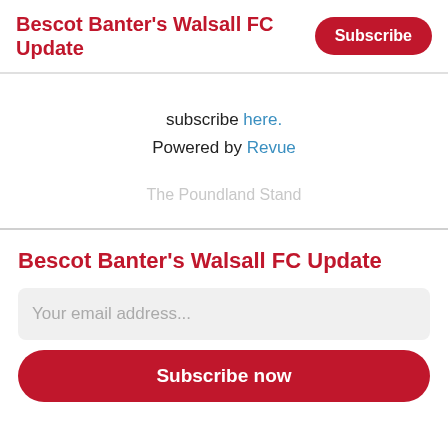Bescot Banter's Walsall FC Update
subscribe here.
Powered by Revue
The Poundland Stand
Bescot Banter's Walsall FC Update
Your email address...
Subscribe now